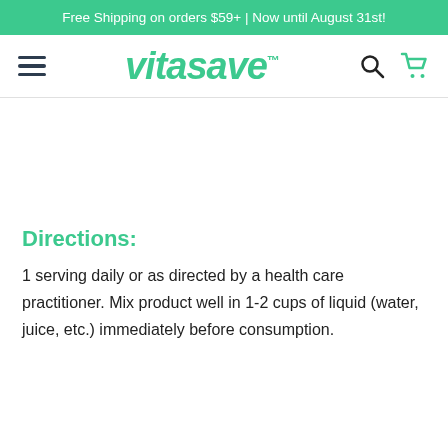Free Shipping on orders $59+ | Now until August 31st!
[Figure (logo): Vitasave logo with hamburger menu, search icon, and cart icon navigation bar]
[Figure (other): Product image placeholder area (blank/white space)]
Directions:
1 serving daily or as directed by a health care practitioner. Mix product well in 1-2 cups of liquid (water, juice, etc.) immediately before consumption.